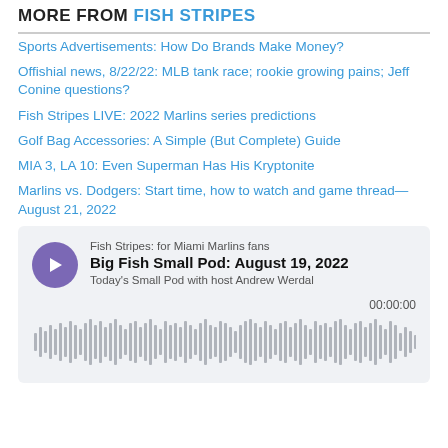MORE FROM FISH STRIPES
Sports Advertisements: How Do Brands Make Money?
Offishial news, 8/22/22: MLB tank race; rookie growing pains; Jeff Conine questions?
Fish Stripes LIVE: 2022 Marlins series predictions
Golf Bag Accessories: A Simple (But Complete) Guide
MIA 3, LA 10: Even Superman Has His Kryptonite
Marlins vs. Dodgers: Start time, how to watch and game thread—August 21, 2022
[Figure (other): Podcast player widget for 'Big Fish Small Pod: August 19, 2022' from Fish Stripes: for Miami Marlins fans. Shows play button, episode title, host description 'Today's Small Pod with host Andrew Werdal', timestamp 00:00:00, and audio waveform visualization.]